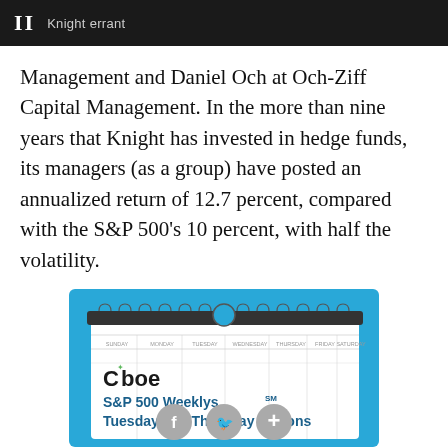II Knight errant
Management and Daniel Och at Och-Ziff Capital Management. In the more than nine years that Knight has invested in hedge funds, its managers (as a group) have posted an annualized return of 12.7 percent, compared with the S&P 500's 10 percent, with half the volatility.
[Figure (illustration): Cboe advertisement showing a calendar-style flip pad with spiral binding and a blue background. Text reads 'Cboe S&P 500 Weeklys℠ Tuesday and Thursday Options']